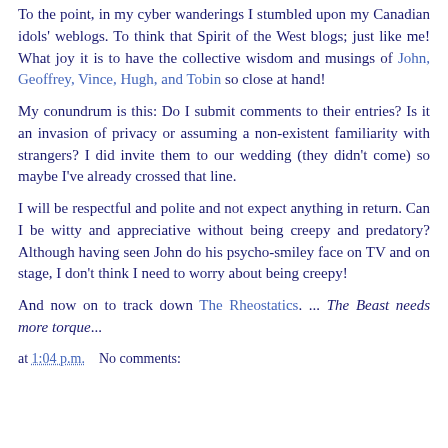To the point, in my cyber wanderings I stumbled upon my Canadian idols' weblogs. To think that Spirit of the West blogs; just like me! What joy it is to have the collective wisdom and musings of John, Geoffrey, Vince, Hugh, and Tobin so close at hand!
My conundrum is this: Do I submit comments to their entries? Is it an invasion of privacy or assuming a non-existent familiarity with strangers? I did invite them to our wedding (they didn't come) so maybe I've already crossed that line.
I will be respectful and polite and not expect anything in return. Can I be witty and appreciative without being creepy and predatory? Although having seen John do his psycho-smiley face on TV and on stage, I don't think I need to worry about being creepy!
And now on to track down The Rheostatics. ... The Beast needs more torque...
at 1:04 p.m.    No comments: